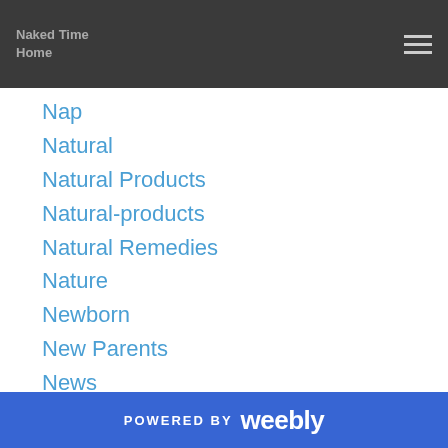Naked Time
Home
Nap
Natural
Natural Products
Natural-products
Natural Remedies
Nature
Newborn
New Parents
News
Night Out
Non Profit
Non-profit
Non-toxic
Nursery
Nutrition
POWERED BY weebly